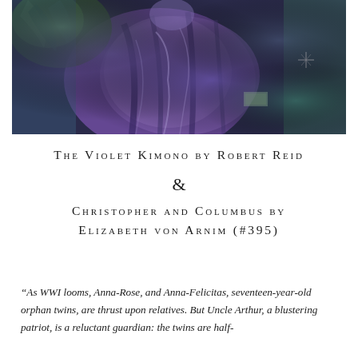[Figure (illustration): A painterly image of a figure wearing a violet/purple kimono with swirling brushstrokes in blues, purples, and greens — impressionistic style.]
THE VIOLET KIMONO BY ROBERT REID
&
CHRISTOPHER AND COLUMBUS BY ELIZABETH VON ARNIM (#395)
“As WWI looms, Anna-Rose, and Anna-Felicitas, seventeen-year-old orphan twins, are thrust upon relatives. But Uncle Arthur, a blustering patriot, is a reluctant guardian: the twins are half-